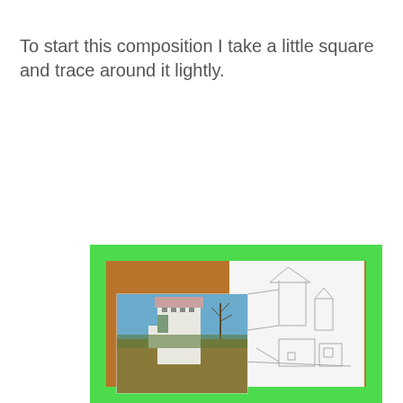To start this composition I take a little square and trace around it lightly.
[Figure (photo): A photograph showing an art class setup: a printed reference photo of a medieval castle tower is placed next to a white drawing paper with a pencil sketch of buildings/castle, both lying on a wooden surface framed with a green border.]